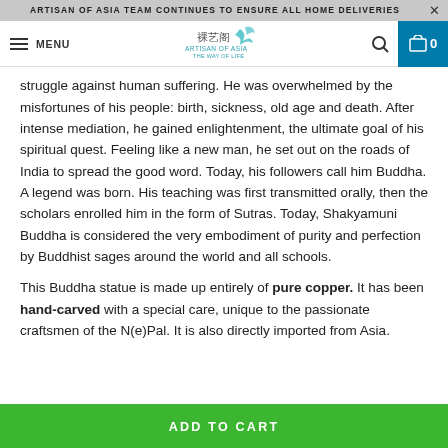ARTISAN OF ASIA TEAM CONTINUES TO ENSURE ALL HOME DELIVERIES
[Figure (logo): Artisan of Asia logo with Chinese characters and bird graphic, navigation bar with MENU, search icon, and cart showing 0]
struggle against human suffering. He was overwhelmed by the misfortunes of his people: birth, sickness, old age and death. After intense mediation, he gained enlightenment, the ultimate goal of his spiritual quest. Feeling like a new man, he set out on the roads of India to spread the good word. Today, his followers call him Buddha. A legend was born. His teaching was first transmitted orally, then the scholars enrolled him in the form of Sutras. Today, Shakyamuni Buddha is considered the very embodiment of purity and perfection by Buddhist sages around the world and all schools.
This Buddha statue is made up entirely of pure copper. It has been hand-carved with a special care, unique to the passionate craftsmen of the N(e)Pal. It is also directly imported from Asia.
ADD TO CART